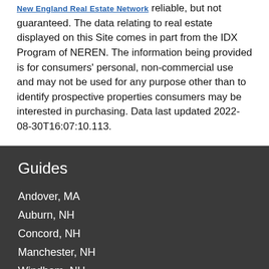New England Real Estate Network reliable, but not guaranteed. The data relating to real estate displayed on this Site comes in part from the IDX Program of NEREN. The information being provided is for consumers' personal, non-commercial use and may not be used for any purpose other than to identify prospective properties consumers may be interested in purchasing. Data last updated 2022-08-30T16:07:10.113.
Guides
Andover, MA
Auburn, NH
Concord, NH
Manchester, NH
Windham, NH
More Guides >
Take a Tour
Ask A Question